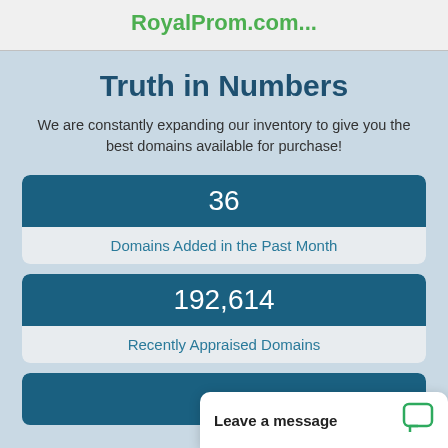RoyalProm.com...
Truth in Numbers
We are constantly expanding our inventory to give you the best domains available for purchase!
36
Domains Added in the Past Month
192,614
Recently Appraised Domains
Leave a message